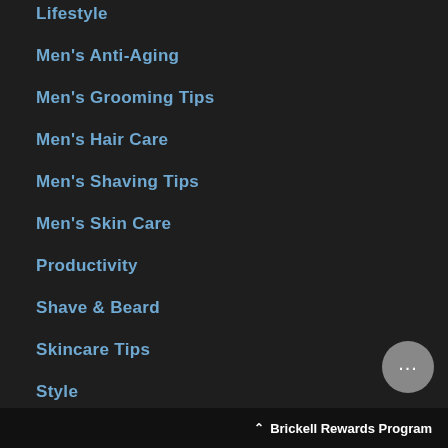Lifestyle
Men's Anti-Aging
Men's Grooming Tips
Men's Hair Care
Men's Shaving Tips
Men's Skin Care
Productivity
Shave & Beard
Skincare Tips
Style
Technology
Brickell Rewards Program